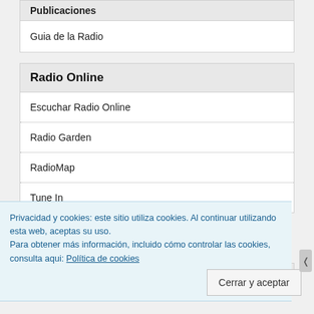Publicaciones
Guia de la Radio
Radio Online
Escuchar Radio Online
Radio Garden
RadioMap
Tune In
Privacidad y cookies: este sitio utiliza cookies. Al continuar utilizando esta web, aceptas su uso.
Para obtener más información, incluido cómo controlar las cookies, consulta aqui: Política de cookies
Cerrar y aceptar